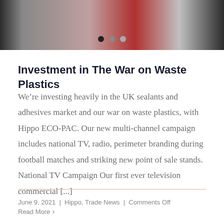[Figure (photo): Photo of a person wearing a red plaid shirt with dark background, with three navigation dots (black, gray, gray) overlaid at the bottom.]
Investment in The War on Waste Plastics
We're investing heavily in the UK sealants and adhesives market and our war on waste plastics, with Hippo ECO-PAC. Our new multi-channel campaign includes national TV, radio, perimeter branding during football matches and striking new point of sale stands. National TV Campaign Our first ever television commercial [...]
June 9, 2021 | Hippo, Trade News | Comments Off
Read More ›